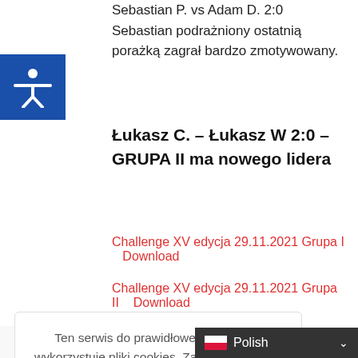Sebastian P. vs Adam D. 2:0 Sebastian podrażniony ostatnią porażką zagrał bardzo zmotywowany.
[Figure (illustration): Blue square accessibility icon with white human figure (person with arms outstretched)]
Łukasz C. – Łukasz W  2:0 – GRUPA II ma nowego lidera
Challenge XV edycja 29.11.2021 Grupa I   Download
Challenge XV edycja 29.11.2021 Grupa II   Download
Ten serwis do prawidłowego działania wykorzystuje pliki cookies. Zakładamy, że nie masz nic przeciwko, ale możesz zrezygnować, jeśli chcesz.
Akceptacja
XV
Polish